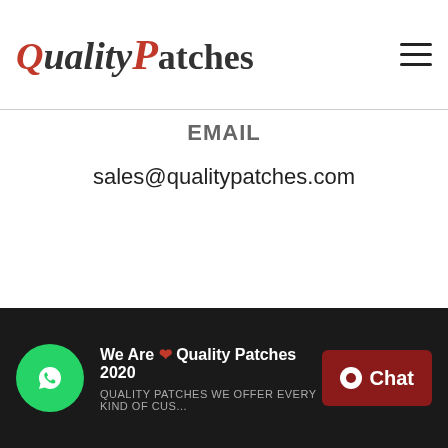[Figure (logo): Quality Patches logo - stylized text with Q and P in red italic, rest in black]
EMAIL
sales@qualitypatches.com
We Are ❤ Quality Patches 2020 | QUALITY PATCHES WE OFFER EVERY KIND OF CUSTOM... | Chat